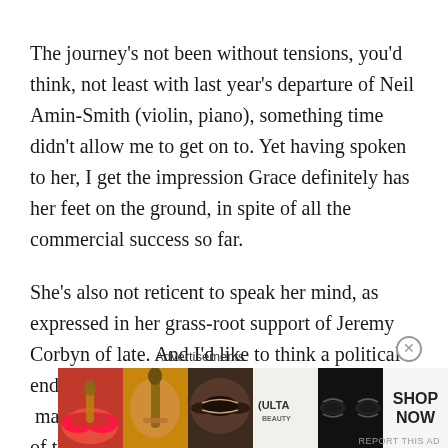The journey's not been without tensions, you'd think, not least with last year's departure of Neil Amin-Smith (violin, piano), something time didn't allow me to get on to. Yet having spoken to her, I get the impression Grace definitely has her feet on the ground, in spite of all the commercial success so far.
She's also not reticent to speak her mind, as expressed in her grass-root support of Jeremy Corbyn of late. And I'd like to think a political endorsement from the likes of Grace would  make more young people sit up and take notice of the bigger picture. Pop music should always be part of the bigger picture, not just some fad and escape from reality.
Advertisements
[Figure (photo): Advertisement banner for ULTA Beauty showing cosmetic makeup imagery including lips, makeup brush, eye makeup, ULTA logo, and eye close-ups with a SHOP NOW button]